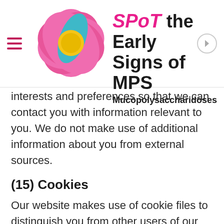[Figure (logo): Spot the Early Signs of MPS website header with pink flower logo, hamburger menu, site title 'SPoT the Early Signs of MPS Mucopolysaccharidoses', and navigation arrow]
interests and preferences so that we can contact you with information relevant to you. We do not make use of additional information about you from external sources.
(15) Cookies
Our website makes use of cookie files to distinguish you from other users of our site, to provide you with a bespoke user experience tailored to your individual preferences. A cookie